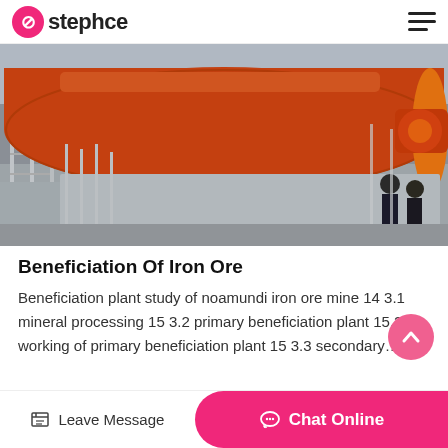stephce
[Figure (photo): Industrial ball mill machine in orange/red color mounted on concrete structure at a mining/beneficiation plant, with scaffolding and workers visible in background]
Beneficiation Of Iron Ore
Beneficiation plant study of noamundi iron ore mine 14 3.1 mineral processing 15 3.2 primary beneficiation plant 15.2.1 working of primary beneficiation plant 15 3.3 secondary…
Leave Message | Chat Online